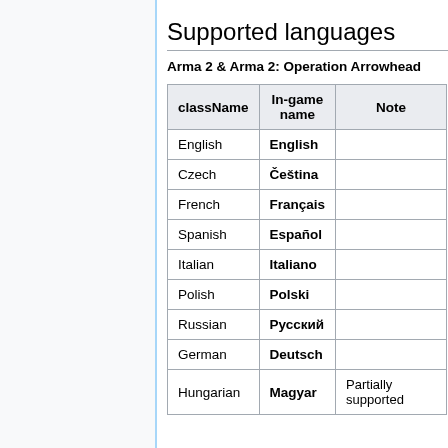Supported languages
Arma 2 & Arma 2: Operation Arrowhead
| className | In-game name | Note |
| --- | --- | --- |
| English | English |  |
| Czech | Čeština |  |
| French | Français |  |
| Spanish | Español |  |
| Italian | Italiano |  |
| Polish | Polski |  |
| Russian | Русский |  |
| German | Deutsch |  |
| Hungarian | Magyar | Partially supported |